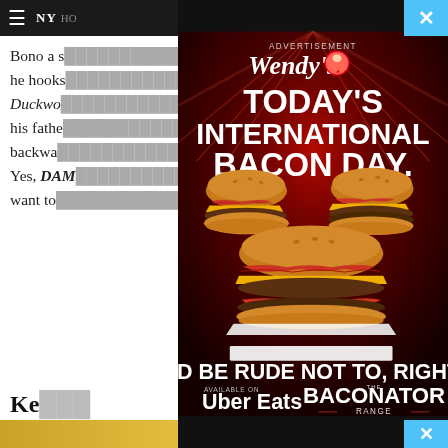HO
Bono a s… loyalty, he hooks… oment. Duckwo… bout his fathe… les backwa… pher. Yes, DAM… You may want to…
[Figure (photo): Wendy's advertisement popup overlay. Dark red background with light rays. Text reads: ADVERTISEMENT, Wendy's logo, TODAY'S INTERNATIONAL BACON DAY., IT'D BE RUDE NOT TO, RIGHT?, AVAILABLE ON Uber Eats, THE BACONATOR RANGE. Three large bacon burgers are shown in the center.]
Ke…
×